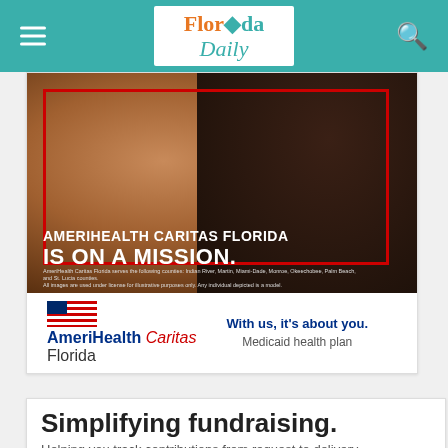Florida Daily
[Figure (photo): AmeriHealth Caritas Florida advertisement. Photo of a smiling woman with another person. Red rectangle border overlay. Text reads: AMERIHEALTH CARITAS FLORIDA IS ON A MISSION. Logo with American flag and brand name. Tagline: With us, it's about you. Medicaid health plan.]
[Figure (illustration): Simplifying fundraising ad. Text: Simplifying fundraising. Helping you track contributions from request to delivery. Software for political campaigns, committees, causes and more. Cityscape illustration at bottom.]